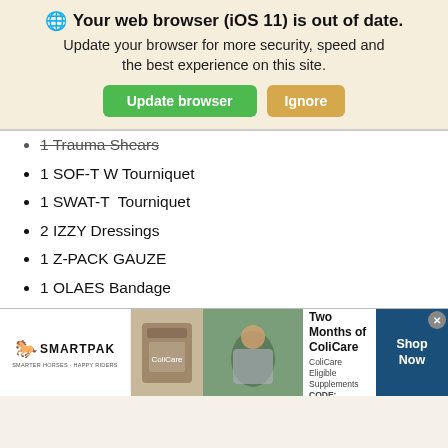[Figure (screenshot): Browser update notification banner with globe icon, bold title 'Your web browser (iOS 11) is out of date.', subtitle text, and two buttons: 'Update browser' (green) and 'Ignore' (orange/tan)]
1 Trauma Shears (partially visible, strikethrough)
1 SOF-T W Tourniquet
1 SWAT-T  Tourniquet
2 IZZY Dressings
1 Z-PACK GAUZE
1 OLAES Bandage
2 H/H Gauze
6 HALO dressings
2 Needle Ds
1 Nasopharyngeal tube
2 Nitrile Gloves
[Figure (screenshot): SmartPak advertisement banner: 50% Off Two Months of ColiCare, ColiCare Eligible Supplements, CODE: COLICARE10, with Shop Now button]